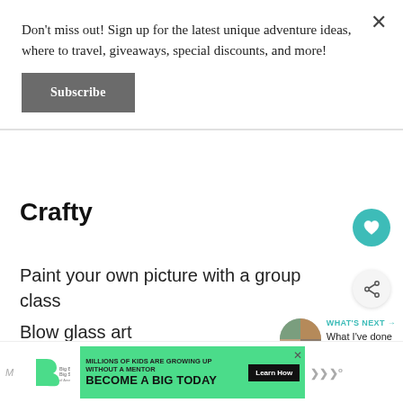Don't miss out! Sign up for the latest unique adventure ideas, where to travel, giveaways, special discounts, and more!
Subscribe
Crafty
Paint your own picture with a group class
Blow glass art
WHAT'S NEXT → What I've done and what's...
[Figure (other): Advertisement banner: Big Brothers Big Sisters - MILLIONS OF KIDS ARE GROWING UP WITHOUT A MENTOR. BECOME A BIG TODAY. Learn How.]